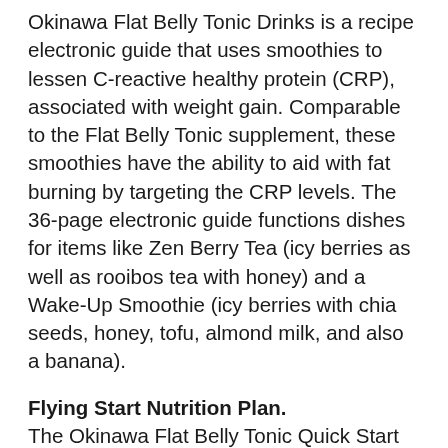Okinawa Flat Belly Tonic Drinks is a recipe electronic guide that uses smoothies to lessen C-reactive healthy protein (CRP), associated with weight gain. Comparable to the Flat Belly Tonic supplement, these smoothies have the ability to aid with fat burning by targeting the CRP levels. The 36-page electronic guide functions dishes for items like Zen Berry Tea (icy berries as well as rooibos tea with honey) and a Wake-Up Smoothie (icy berries with chia seeds, honey, tofu, almond milk, and also a banana).
Flying Start Nutrition Plan.
The Okinawa Flat Belly Tonic Quick Start Nutrition Plan is a digital overview discussing the Okinawa Flat Belly Tonic program's main tenets. Underneath the 'foods that alter